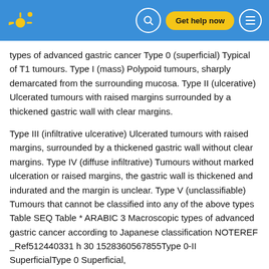Get help now
types of advanced gastric cancer Type 0 (superficial) Typical of T1 tumours. Type I (mass) Polypoid tumours, sharply demarcated from the surrounding mucosa. Type II (ulcerative) Ulcerated tumours with raised margins surrounded by a thickened gastric wall with clear margins.
Type III (infiltrative ulcerative) Ulcerated tumours with raised margins, surrounded by a thickened gastric wall without clear margins. Type IV (diffuse infiltrative) Tumours without marked ulceration or raised margins, the gastric wall is thickened and indurated and the margin is unclear. Type V (unclassifiable) Tumours that cannot be classified into any of the above types Table SEQ Table * ARABIC 3 Macroscopic types of advanced gastric cancer according to Japanese classification NOTEREF _Ref512440331 h 30 1528360567855Type 0-II SuperficialType 0 Superficial,